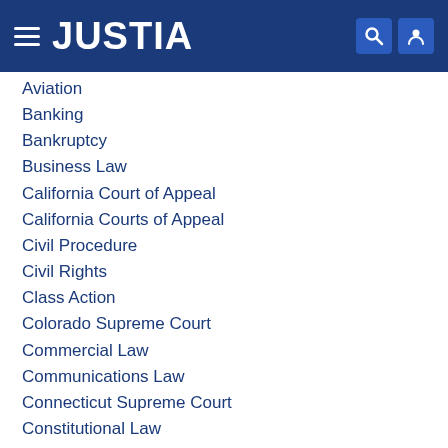JUSTIA
Aviation
Banking
Bankruptcy
Business Law
California Court of Appeal
California Courts of Appeal
Civil Procedure
Civil Rights
Class Action
Colorado Supreme Court
Commercial Law
Communications Law
Connecticut Supreme Court
Constitutional Law
Construction Law
Consumer Law
Contracts
Corporate Compliance
Criminal Law